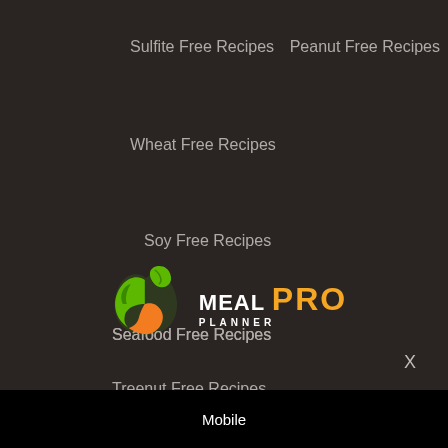Sulfite Free Recipes
Peanut Free Recipes
Wheat Free Recipes
Soy Free Recipes
Seafood Free Recipes
Treenut Free Recipes
[Figure (logo): Meal Planner Pro logo — stylized apple/leaf icon in green and orange, with text MEAL PLANNER PRO where PRO is in orange]
X
Mobile